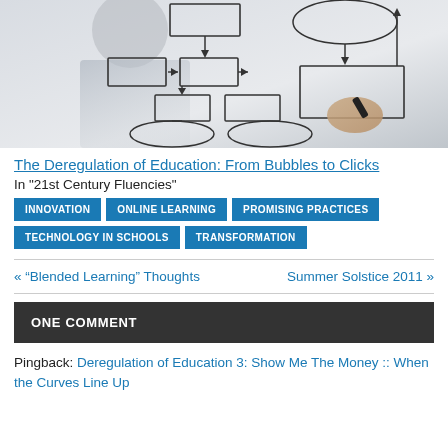[Figure (photo): Person drawing a flowchart with boxes, arrows, and oval shapes on a white surface using a black marker; blurred background.]
The Deregulation of Education: From Bubbles to Clicks
In "21st Century Fluencies"
INNOVATION
ONLINE LEARNING
PROMISING PRACTICES
TECHNOLOGY IN SCHOOLS
TRANSFORMATION
« “Blended Learning” Thoughts   Summer Solstice 2011 »
ONE COMMENT
Pingback: Deregulation of Education 3: Show Me The Money :: When the Curves Line Up